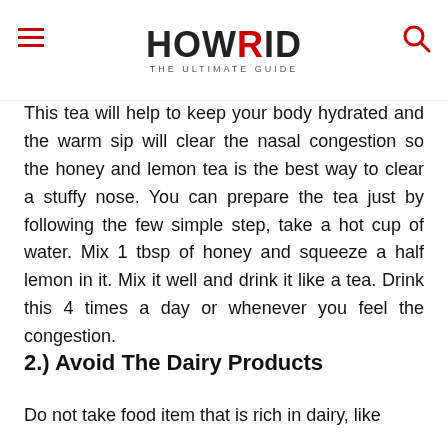HOWRID THE ULTIMATE GUIDE
This tea will help to keep your body hydrated and the warm sip will clear the nasal congestion so the honey and lemon tea is the best way to clear a stuffy nose. You can prepare the tea just by following the few simple step, take a hot cup of water. Mix 1 tbsp of honey and squeeze a half lemon in it. Mix it well and drink it like a tea. Drink this 4 times a day or whenever you feel the congestion.
2.) Avoid The Dairy Products
Do not take food item that is rich in dairy, like